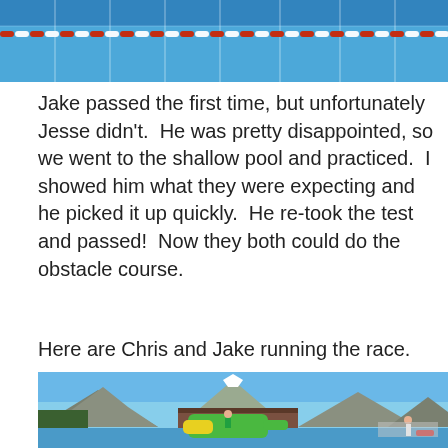[Figure (photo): Aerial view of a swimming pool with blue water and lane dividers, with a red and white rope visible across the lanes.]
Jake passed the first time, but unfortunately Jesse didn't.  He was pretty disappointed, so we went to the shallow pool and practiced.  I showed him what they were expecting and he picked it up quickly.  He re-took the test and passed!  Now they both could do the obstacle course.
Here are Chris and Jake running the race.
[Figure (photo): Outdoor swimming pool with an inflatable obstacle course in the water. Mountains with snow caps are visible in the background, along with trees and a building. People are participating in the obstacle course and a lifeguard stands on the right.]